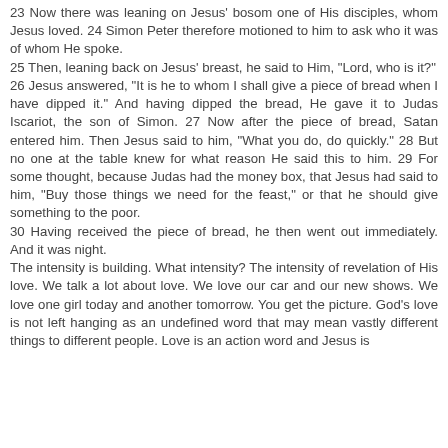23 Now there was leaning on Jesus' bosom one of His disciples, whom Jesus loved. 24 Simon Peter therefore motioned to him to ask who it was of whom He spoke. 25 Then, leaning back on Jesus' breast, he said to Him, "Lord, who is it?" 26 Jesus answered, "It is he to whom I shall give a piece of bread when I have dipped it." And having dipped the bread, He gave it to Judas Iscariot, the son of Simon. 27 Now after the piece of bread, Satan entered him. Then Jesus said to him, "What you do, do quickly." 28 But no one at the table knew for what reason He said this to him. 29 For some thought, because Judas had the money box, that Jesus had said to him, "Buy those things we need for the feast," or that he should give something to the poor. 30 Having received the piece of bread, he then went out immediately. And it was night. The intensity is building. What intensity? The intensity of revelation of His love. We talk a lot about love. We love our car and our new shows. We love one girl today and another tomorrow. You get the picture. God's love is not left hanging as an undefined word that may mean vastly different things to different people. Love is an action word and Jesus is